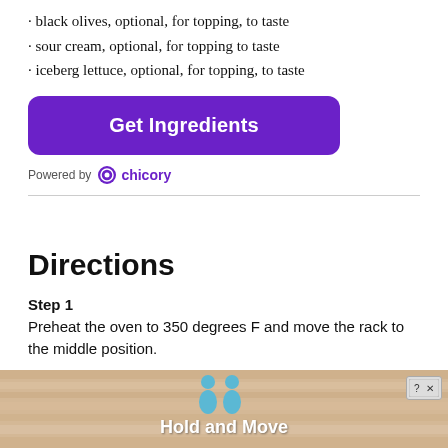· black olives, optional, for topping, to taste
· sour cream, optional, for topping to taste
· iceberg lettuce, optional, for topping, to taste
[Figure (other): Purple 'Get Ingredients' button with rounded corners]
[Figure (logo): Powered by chicory logo with purple circle icon]
Directions
Step 1
Preheat the oven to 350 degrees F and move the rack to the middle position.
Step 2
Add t...for 5 minu...the
[Figure (other): Advertisement banner overlay with 'Hold and Move' text, blue figures, and close button]